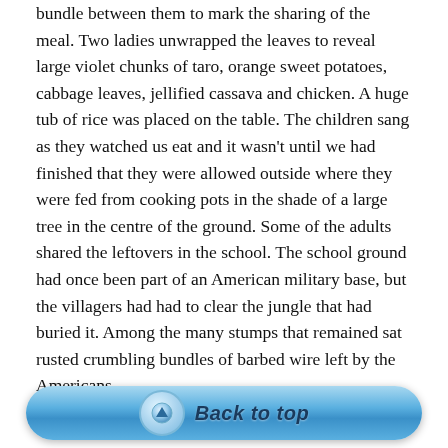bundle between them to mark the sharing of the meal. Two ladies unwrapped the leaves to reveal large violet chunks of taro, orange sweet potatoes, cabbage leaves, jellified cassava and chicken. A huge tub of rice was placed on the table. The children sang as they watched us eat and it wasn't until we had finished that they were allowed outside where they were fed from cooking pots in the shade of a large tree in the centre of the ground. Some of the adults shared the leftovers in the school. The school ground had once been part of an American military base, but the villagers had had to clear the jungle that had buried it. Among the many stumps that remained sat rusted crumbling bundles of barbed wire left by the Americans.
[Figure (other): A 'Back to top' button with a blue rounded rectangle background, an arrow-up circle icon on the left, and italic bold text 'Back to top' in dark blue.]